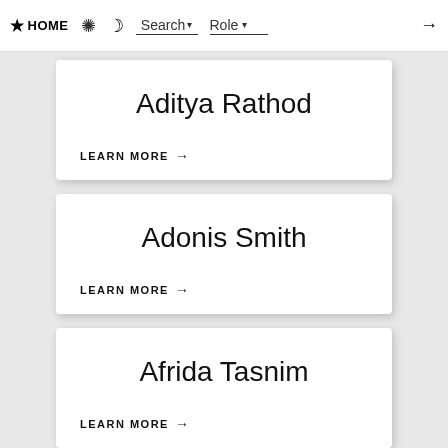HOME | [sun icon] | [moon icon] | Search | Role | →
Aditya Rathod
LEARN MORE →
Adonis Smith
LEARN MORE →
Afrida Tasnim
LEARN MORE →